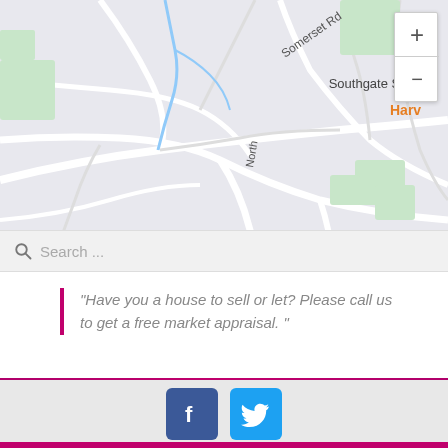[Figure (map): Google Maps screenshot showing area around Southgate School with roads including Somerset Rd and North road visible, green areas, map controls, Google branding, and attributions: Keyboard shortcuts, Map data ©2022, Terms of Use. ER HOUSES text visible on left. Orange text 'Harv' partially visible top right.]
Search ...
"Have you a house to sell or let? Please call us to get a free market appraisal. "
[Figure (infographic): Facebook and Twitter social media icon buttons at bottom footer area]